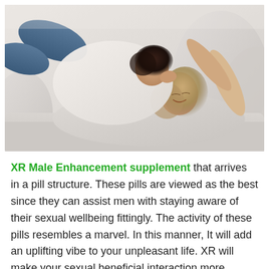[Figure (photo): A couple lying on a couch, a man leaning over a woman who is smiling up at him, romantic pose on light grey sofa with pillows]
XR Male Enhancement supplement that arrives in a pill structure. These pills are viewed as the best since they can assist men with staying aware of their sexual wellbeing fittingly. The activity of these pills resembles a marvel. In this manner, It will add an uplifting vibe to your unpleasant life. XR will make your sexual beneficial interaction more charming